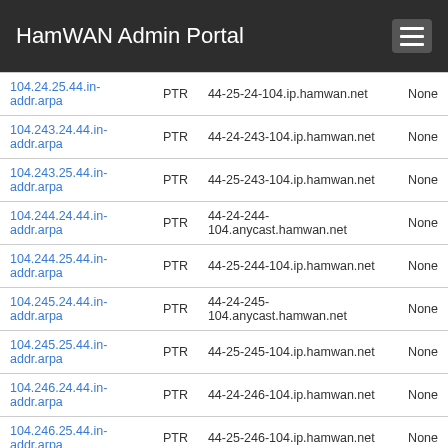HamWAN Admin Portal
| Name | Type | Content | TTL |
| --- | --- | --- | --- |
| 104.24.25.44.in-addr.arpa | PTR | 44-25-24-104.ip.hamwan.net | None |
| 104.243.24.44.in-addr.arpa | PTR | 44-24-243-104.ip.hamwan.net | None |
| 104.243.25.44.in-addr.arpa | PTR | 44-25-243-104.ip.hamwan.net | None |
| 104.244.24.44.in-addr.arpa | PTR | 44-24-244-104.anycast.hamwan.net | None |
| 104.244.25.44.in-addr.arpa | PTR | 44-25-244-104.ip.hamwan.net | None |
| 104.245.24.44.in-addr.arpa | PTR | 44-24-245-104.anycast.hamwan.net | None |
| 104.245.25.44.in-addr.arpa | PTR | 44-25-245-104.ip.hamwan.net | None |
| 104.246.24.44.in-addr.arpa | PTR | 44-24-246-104.ip.hamwan.net | None |
| 104.246.25.44.in-addr.arpa | PTR | 44-25-246-104.ip.hamwan.net | None |
| 104.247.24.44.in-addr.arpa | PTR | 44-24-247-104.ip.hamwan.net | None |
| 104.247.25.44.in-addr.arpa | PTR | 44-25-247-104.ip.hamwan.net | None |
| 104.248.24.44.in-addr.arpa | PTR | 44-24-248-104.ip.hamwan.net | None |
| 104.248.25.44.in-addr.arpa | PTR | 44-25-248-104.ip.hamwan.net | None |
| 104.249.24.44.in-addr.arpa | PTR | 44-24-249-104.ip.hamwan.net | None |
| 104.249.25.44.in-addr.arpa | PTR | 44-25-249-104.ip.hamwan.net | None |